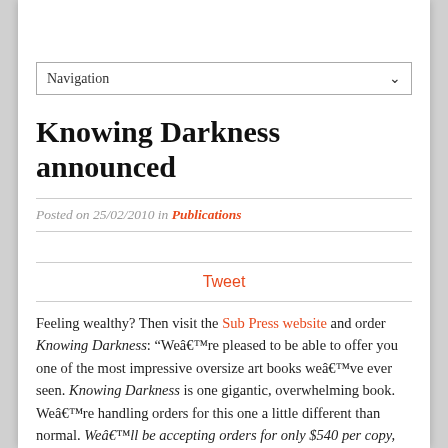Navigation
Knowing Darkness announced
Posted on 25/02/2010 in Publications
Tweet
Feeling wealthy? Then visit the Sub Press website and order Knowing Darkness: “Weâ€™re pleased to be able to offer you one of the most impressive oversize art books weâ€™ve ever seen. Knowing Darkness is one gigantic, overwhelming book. Weâ€™re handling orders for this one a little different than normal. Weâ€™ll be accepting orders for only $540 per copy, including US shipping